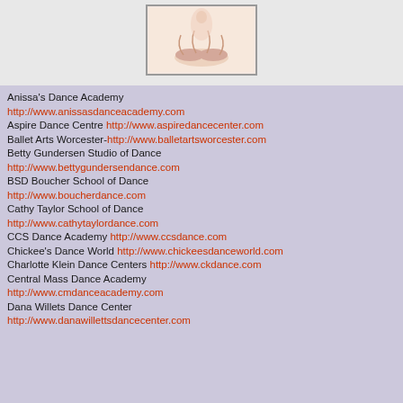[Figure (photo): Ballet dancer / ballet shoes photo in a bordered box]
Anissa's Dance Academy http://www.anissasdanceacademy.com
Aspire Dance Centre http://www.aspiredancecenter.com
Ballet Arts Worcester- http://www.balletartsworcester.com
Betty Gundersen Studio of Dance http://www.bettygundersendance.com
BSD Boucher School of Dance http://www.boucherdance.com
Cathy Taylor School of Dance http://www.cathytaylordance.com
CCS Dance Academy http://www.ccsdance.com
Chickee's Dance World http://www.chickeesdanceworld.com
Charlotte Klein Dance Centers http://www.ckdance.com
Central Mass Dance Academy http://www.cmdanceacademy.com
Dana Willets Dance Center http://www.danawillettsdancecenter.com